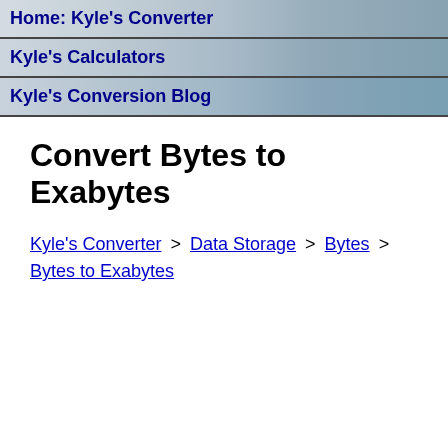Home: Kyle's Converter
Kyle's Calculators
Kyle's Conversion Blog
Convert Bytes to Exabytes
Kyle's Converter > Data Storage > Bytes > Bytes to Exabytes